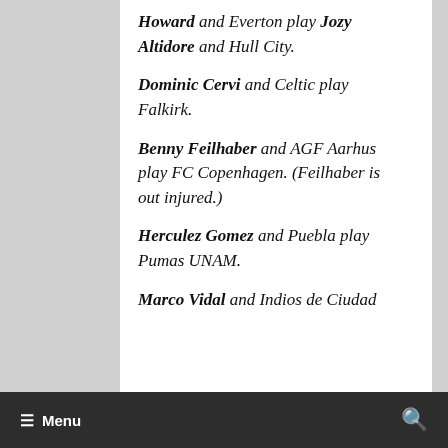Howard and Everton play Jozy Altidore and Hull City.
Dominic Cervi and Celtic play Falkirk.
Benny Feilhaber and AGF Aarhus play FC Copenhagen. (Feilhaber is out injured.)
Herculez Gomez and Puebla play Pumas UNAM.
Marco Vidal and Indios de Ciudad
☰ Menu  🔍